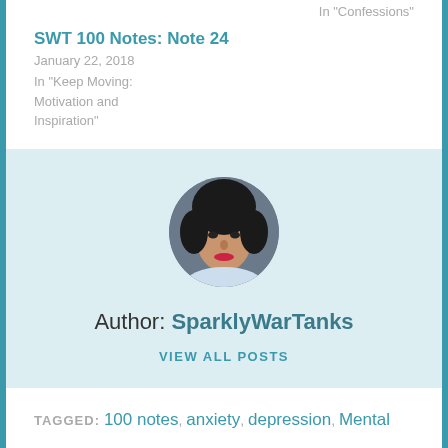In "Confessions"
SWT 100 Notes: Note 24
January 22, 2018
In "Keep Moving: Motivation and Inspiration"
[Figure (photo): Circular profile photo of a young woman with dark curly hair and red lipstick]
Author: SparklyWarTanks
VIEW ALL POSTS
TAGGED: 100 notes, anxiety, depression, Mental